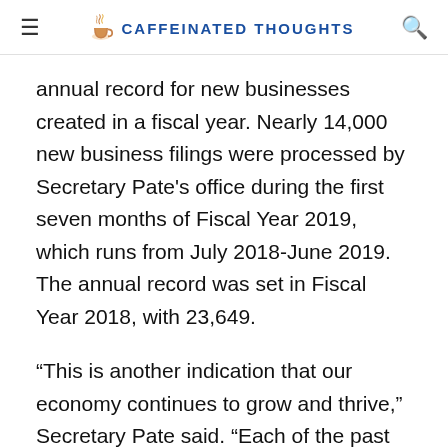CAFFEINATED THOUGHTS
annual record for new businesses created in a fiscal year. Nearly 14,000 new business filings were processed by Secretary Pate’s office during the first seven months of Fiscal Year 2019, which runs from July 2018-June 2019. The annual record was set in Fiscal Year 2018, with 23,649.
“This is another indication that our economy continues to grow and thrive,” Secretary Pate said. “Each of the past three years, entrepreneurs have launched more than 20,000 new businesses in Iowa. The majority of jobs are created by small